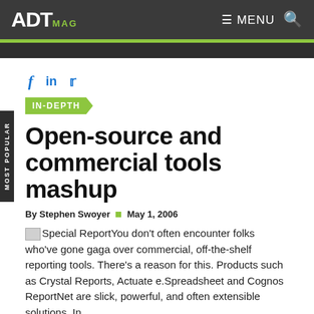ADT MAG  ≡ MENU  🔍
IN-DEPTH
Open-source and commercial tools mashup
By Stephen Swoyer  May 1, 2006
Special ReportYou don't often encounter folks who've gone gaga over commercial, off-the-shelf reporting tools. There's a reason for this. Products such as Crystal Reports, Actuate e.Spreadsheet and Cognos ReportNet are slick, powerful, and often extensible solutions. In